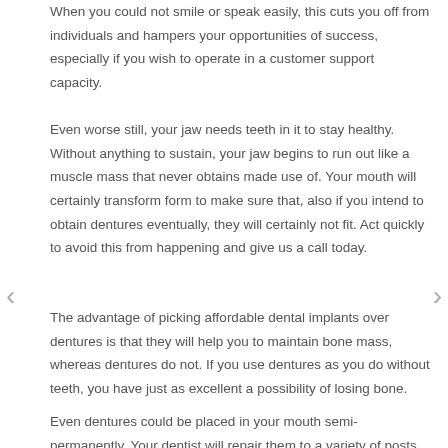When you could not smile or speak easily, this cuts you off from individuals and hampers your opportunities of success, especially if you wish to operate in a customer support capacity.
Even worse still, your jaw needs teeth in it to stay healthy. Without anything to sustain, your jaw begins to run out like a muscle mass that never obtains made use of. Your mouth will certainly transform form to make sure that, also if you intend to obtain dentures eventually, they will certainly not fit. Act quickly to avoid this from happening and give us a call today.
The advantage of picking affordable dental implants over dentures is that they will help you to maintain bone mass, whereas dentures do not. If you use dentures as you do without teeth, you have just as excellent a possibility of losing bone.
Even dentures could be placed in your mouth semi-permanently. Your dentist will repair them to a variety of posts to make sure that